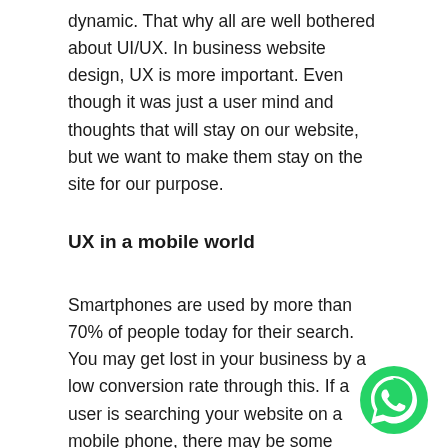dynamic. That why all are well bothered about UI/UX. In business website design, UX is more important. Even though it was just a user mind and thoughts that will stay on our website, but we want to make them stay on the site for our purpose.
UX in a mobile world
Smartphones are used by more than 70% of people today for their search. You may get lost in your business by a low conversion rate through this. If a user is searching your website on a mobile phone, there may be some
[Figure (logo): WhatsApp logo — green circle with white phone handset icon]